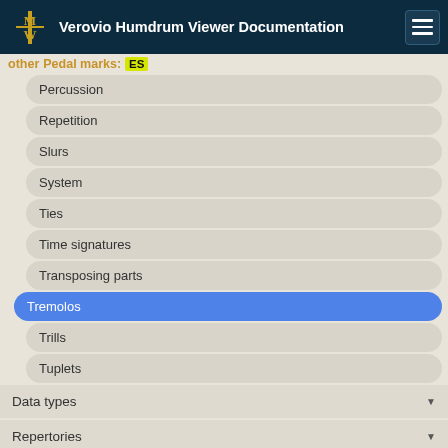Verovio Humdrum Viewer Documentation
other Pedal marks: ES
Percussion
Repetition
Slurs
System
Ties
Time signatures
Transposing parts
Tremolos
Trills
Tuplets
Data types
Repertories
Filters
Embedded options